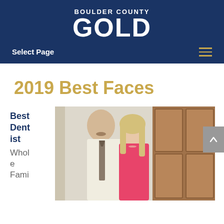BOULDER COUNTY GOLD
2019 Best Faces
Best Dentist Whole Family
[Figure (photo): Two people standing indoors: a man in a white dress shirt and striped tie, and a woman in a pink sleeveless dress with long blonde hair, posing in front of wooden doors.]